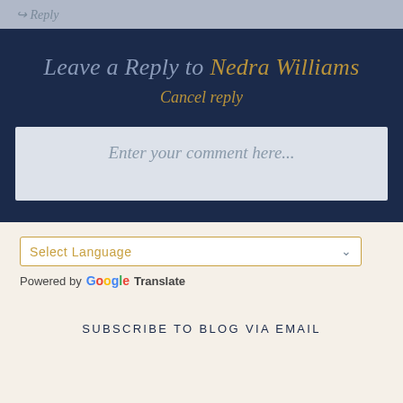Reply
Leave a Reply to Nedra Williams
Cancel reply
Enter your comment here...
Select Language
Powered by Google Translate
SUBSCRIBE TO BLOG VIA EMAIL